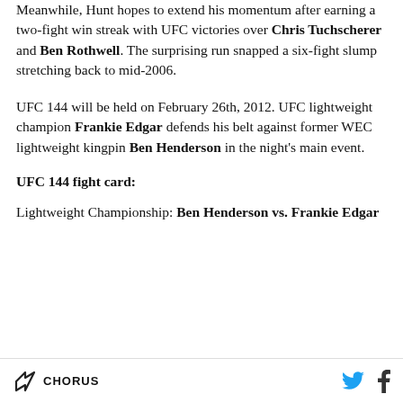Meanwhile, Hunt hopes to extend his momentum after earning a two-fight win streak with UFC victories over Chris Tuchscherer and Ben Rothwell. The surprising run snapped a six-fight slump stretching back to mid-2006.
UFC 144 will be held on February 26th, 2012. UFC lightweight champion Frankie Edgar defends his belt against former WEC lightweight kingpin Ben Henderson in the night's main event.
UFC 144 fight card:
Lightweight Championship: Ben Henderson vs. Frankie Edgar
CHORUS